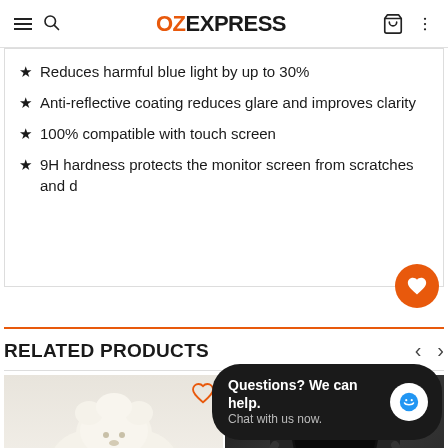OZEXPRESS
Reduces harmful blue light by up to 30%
Anti-reflective coating reduces glare and improves clarity
100% compatible with touch screen
9H hardness protects the monitor screen from scratches and d
RELATED PRODUCTS
[Figure (photo): White fluffy product (plush item) shown in a product card]
[Figure (photo): Black leather/straps product shown in a product card]
Questions? We can help. Chat with us now.